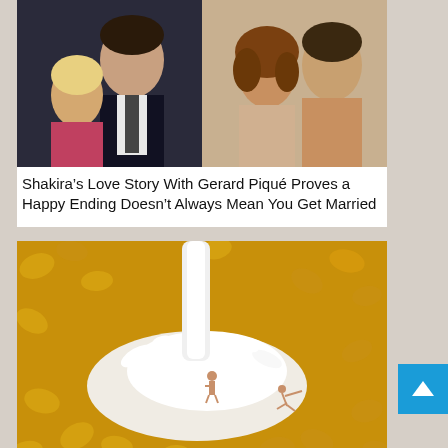[Figure (photo): Two-panel photo collage: left panel shows a blonde woman with a tall dark-haired man in a suit and tie at a formal event; right panel shows the same couple in a casual outdoor setting, woman with curly hair, man shirtless, both smiling.]
Shakira’s Love Story With Gerard Piqué Proves a Happy Ending Doesn’t Always Mean You Get Married
[Figure (photo): Close-up photo of corn flakes in milk with miniature figurines playing in it; a stream of milk pours from above creating a splash, and tiny human figures are posed in the milk among the cereal.]
Photographer Turn Food Into An Interesting